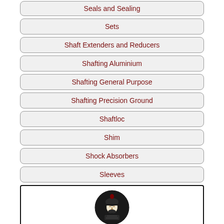Seals and Sealing
Sets
Shaft Extenders and Reducers
Shafting Aluminium
Shafting General Purpose
Shafting Precision Ground
Shaftloc
Shim
Shock Absorbers
Sleeves
[Figure (logo): American Express logo with centurion head icon and AMERICAN EXPRESS text, with Amex link below]